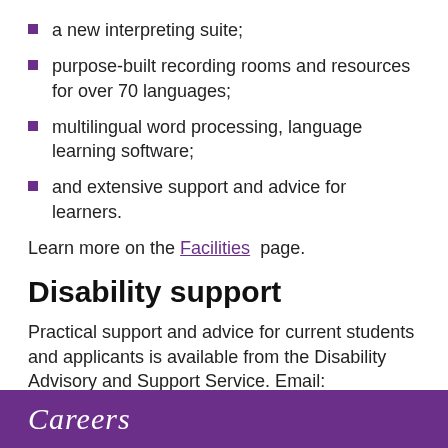a new interpreting suite;
purpose-built recording rooms and resources for over 70 languages;
multilingual word processing, language learning software;
and extensive support and advice for learners.
Learn more on the Facilities page.
Disability support
Practical support and advice for current students and applicants is available from the Disability Advisory and Support Service. Email: dass@manchester.ac.uk
Careers